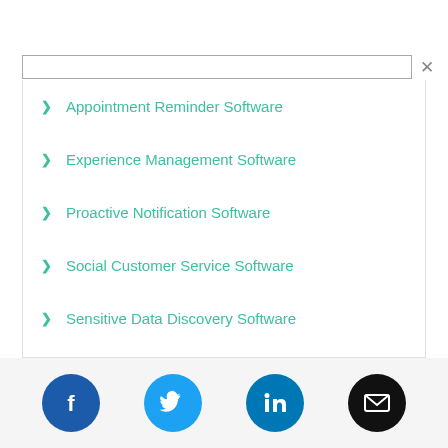Appointment Reminder Software
Experience Management Software
Proactive Notification Software
Social Customer Service Software
Sensitive Data Discovery Software
Machine Learning Software
[Figure (infographic): Social media and email share icons: Facebook (blue), Twitter (light blue), LinkedIn (blue), Email (black)]